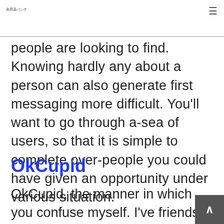美容薬バンク
people are looking to find. Knowing hardly any about a person can also generate first messaging more difficult. You'll want to go through a-sea of users, so that it is simple to complete over-people you could have given an opportunity under various situation.
OkCupid
OkCupid, the manner in which you confuse myself. I've friends who've